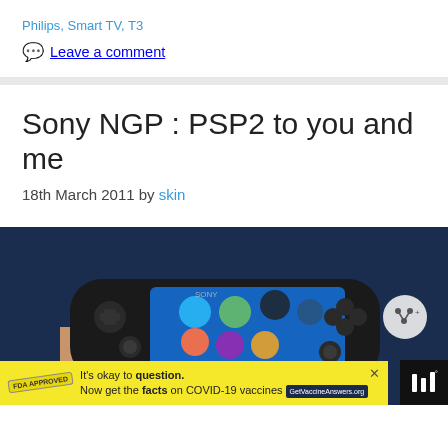Philips, Smart TV, T3
Leave a comment
Sony NGP : PSP2 to you and me
18th March 2011 by skin
[Figure (photo): A hand holding a Sony NGP (PSP2) handheld gaming device against a dark blue background. The device has a touchscreen showing app icons and a person's fingers touching the screen. A share button overlay is visible on the right side.]
It's okay to question. Now get the facts on COVID-19 vaccines GetVaccineAnswers.org